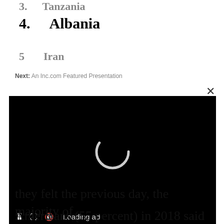3. Tanzania
4. Albania
5. Iran
Next: An Inc.com Featured Presentation
[Figure (screenshot): Video player with black background showing a loading spinner and controls bar with pause, fullscreen, mute icons and 'Loading ad' text]
they felt the previous day, the majority of
Americans (55 percent) in 2018 said they had